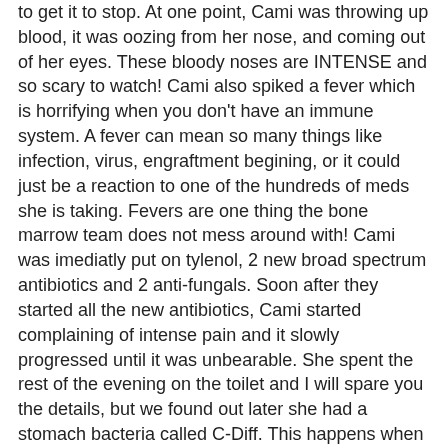to get it to stop.  At one point, Cami was throwing up blood, it was oozing from her nose, and coming out of her eyes.  These bloody noses are INTENSE and so scary to watch!  Cami also spiked a fever which is horrifying when you don't have an immune system.   A fever can mean so many things like infection, virus, engraftment begining, or it could just be a reaction to one of the hundreds of meds she is taking.  Fevers are one thing the bone marrow team does not mess around with!  Cami was imediatly put on tylenol, 2 new broad spectrum antibiotics and 2 anti-fungals.   Soon after they started all the new antibiotics, Cami started complaining of intense pain and it slowly progressed until it was unbearable.  She spent the rest of the evening on the toilet and I will spare you the details, but we found out later she had a stomach bacteria called C-Diff.  This happens when the good bacteria in your gut is killed off from all the antibiotics and it is very painful.  It is odd, but to treat it they give yet another antibiotic.. just add it to her list!  Then the next day day, she came down with a little cough.  The cough could easily have been her body just trying to clear out her mouth and throat (which is lined with sores), but the combination of cough and fever made the Docs concerned.  So, Cami had to be given